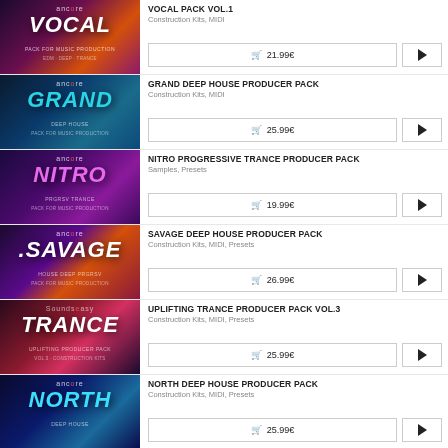[Figure (illustration): Vocal Pack Vol.1 product thumbnail with colorful music production artwork]
VOCAL PACK VOL.1
Construction Kits, MIDI
🛒 21.99€
[Figure (illustration): Grand Deep House Producer Pack thumbnail with blue deep house artwork]
GRAND DEEP HOUSE PRODUCER PACK
Construction Kits, MIDI
🛒 25.99€
[Figure (illustration): Nitro Progressive Trance Producer Pack thumbnail with purple trance artwork]
NITRO PROGRESSIVE TRANCE PRODUCER PACK
Samples, Presets
🛒 19.99€
[Figure (illustration): Savage Deep House Producer Pack thumbnail with purple and orange artwork]
SAVAGE DEEP HOUSE PRODUCER PACK
Construction Kits, MIDI, Presets
🛒 26.99€
[Figure (illustration): Uplifting Trance Producer Pack Vol.3 thumbnail with pink flower and trance artwork]
UPLIFTING TRANCE PRODUCER PACK VOL.3
Construction Kits, MIDI, Presets
🛒 25.99€
[Figure (illustration): North Deep House Producer Pack thumbnail with blue deep house artwork]
NORTH DEEP HOUSE PRODUCER PACK
Construction Kits, MIDI, Presets
🛒 25.99€